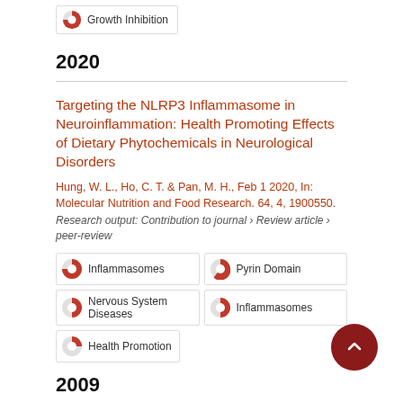Growth Inhibition
2020
Targeting the NLRP3 Inflammasome in Neuroinflammation: Health Promoting Effects of Dietary Phytochemicals in Neurological Disorders
Hung, W. L., Ho, C. T. & Pan, M. H., Feb 1 2020, In: Molecular Nutrition and Food Research. 64, 4, 1900550.
Research output: Contribution to journal › Review article › peer-review
Inflammasomes
Pyrin Domain
Nervous System Diseases
Inflammasomes
Health Promotion
2009